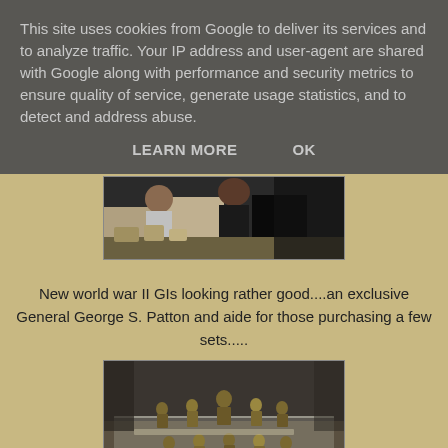This site uses cookies from Google to deliver its services and to analyze traffic. Your IP address and user-agent are shared with Google along with performance and security metrics to ensure quality of service, generate usage statistics, and to detect and address abuse.
LEARN MORE    OK
[Figure (photo): A photo showing people at what appears to be a convention or hobby show with miniature figures displayed on a table.]
New world war II GIs looking rather good....an exclusive General George S. Patton and aide for those purchasing a few sets.....
[Figure (photo): A photo showing World War II miniature soldier figurines displayed in a clear acrylic case at a convention or hobby show.]